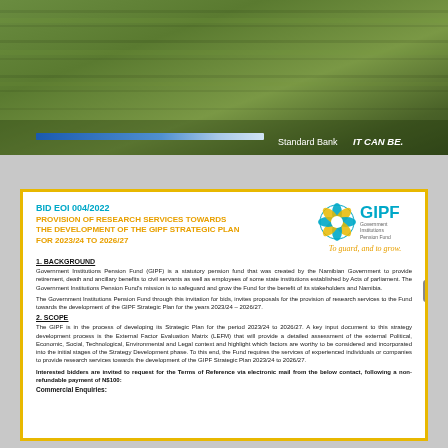[Figure (photo): Aerial view of a green agricultural field with crop rows, Standard Bank 'IT CAN BE.' branding with blue gradient bar at bottom]
BID EOI 004/2022
PROVISION OF RESEARCH SERVICES TOWARDS THE DEVELOPMENT OF THE GIPF STRATEGIC PLAN FOR 2023/24 TO 2026/27
[Figure (logo): GIPF (Government Institutions Pension Fund) logo with decorative wheel and tagline 'To guard, and to grow.']
1. BACKGROUND
Government Institutions Pension Fund (GIPF) is a statutory pension fund that was created by the Namibian Government to provide retirement, death and ancillary benefits to civil servants as well as employees of some state institutions established by Acts of parliament. The Government Institutions Pension Fund's mission is to safeguard and grow the Fund for the benefit of its stakeholders and Namibia.
The Government Institutions Pension Fund through this invitation for bids, invites proposals for the provision of research services to the Fund towards the development of the GIPF Strategic Plan for the years 2023/24 – 2026/27.
2. SCOPE
The GIPF is in the process of developing its Strategic Plan for the period 2023/24 to 2026/27. A key input document to this strategy development process is the External Factor Evaluation Matrix (LEFM) that will provide a detailed assessment of the external Political, Economic, Social, Technological, Environmental and Legal context and highlight which factors are worthy to be considered and incorporated into the initial stages of the Strategy Development phase. To this end, the Fund requires the services of experienced individuals or companies to provide research services towards the development of the GIPF Strategic Plan 2023/24 to 2026/27.
Interested bidders are invited to request for the Terms of Reference via electronic mail from the below contact, following a non-refundable payment of N$100:
Commercial Enquiries: